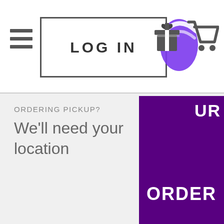[Figure (screenshot): Website navigation bar with hamburger menu, LOG IN button, Taco Bell logo, gift icon, and shopping cart icon]
ORDERING PICKUP?
We'll need your location
[Figure (other): Purple button overlay with text ORDER and UR]
Gaffer: Seth Oberie
Grip: Evan James Metz
Field Audio: Tyler Lang
FOH Audio Capture: Luis Miranda
DIT: Stephen Ruminski
Production Assistant: Douglas Dowers
Editor: Michael Farley